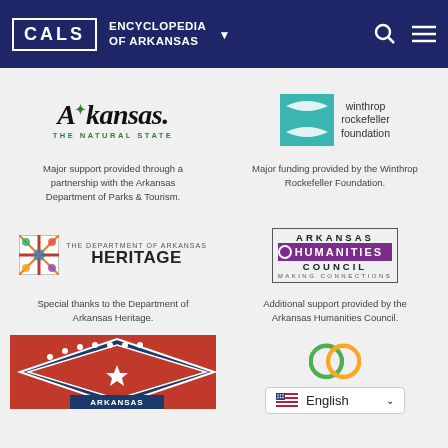CALS | ENCYCLOPEDIA OF ARKANSAS
[Figure (logo): Arkansas – The Natural State logo with stylized text and bird]
Major support provided through a partnership with the Arkansas Department of Parks & Tourism.
[Figure (logo): Winthrop Rockefeller Foundation logo with teal swoosh icon]
Major funding provided by the Winthrop Rockefeller Foundation.
[Figure (logo): The Department of Arkansas Heritage logo]
Special thanks to the Department of Arkansas Heritage.
[Figure (logo): Arkansas Humanities Council – Making Connections logo]
Additional support provided by the Arkansas Humanities Council.
[Figure (photo): Arkansas state flag (partial, bottom of page)]
[Figure (logo): Circular green/yellow logo (partial, bottom right)]
English (language selector dropdown)